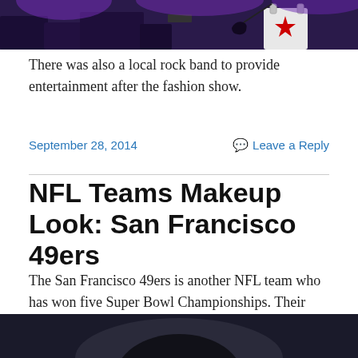[Figure (photo): Top portion of an image showing a stage with musical equipment, purple lights, and a shopping bag with a red star.]
There was also a local rock band to provide entertainment after the fashion show.
September 28, 2014    Leave a Reply
NFL Teams Makeup Look: San Francisco 49ers
The San Francisco 49ers is another NFL team who has won five Super Bowl Championships. Their team colors are Red and Gold. By the way, I think their quarterback is really cute. 😉
[Figure (photo): Bottom portion showing a dark image, partially visible, appears to be a person.]